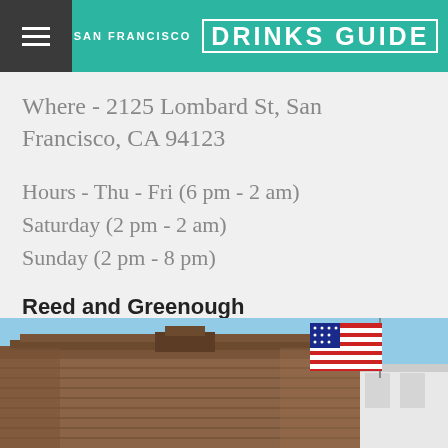SAN FRANCISCO DRINKS GUIDE
Where - 2125 Lombard St, San Francisco, CA 94123
Hours - Thu - Fri (6 pm - 2 am)
Saturday (2 pm - 2 am)
Sunday (2 pm - 8 pm)
Reed and Greenough
[Figure (photo): Exterior photo of a building with rustic wooden facade and American flag visible in upper right corner against a blue sky.]